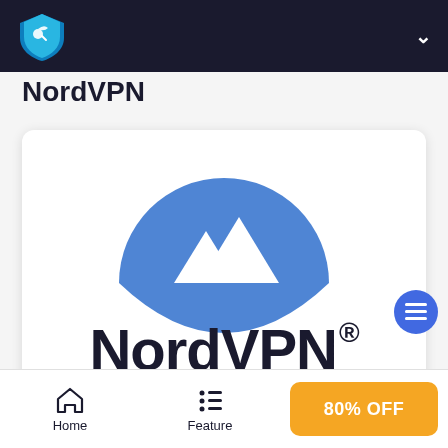NordVPN
NordVPN
[Figure (logo): NordVPN logo: blue semicircle with white mountain peaks above the text NordVPN with registered trademark symbol]
Available on: Windows PC, iOS devices, Android devices, and
Home | Feature | 80% OFF